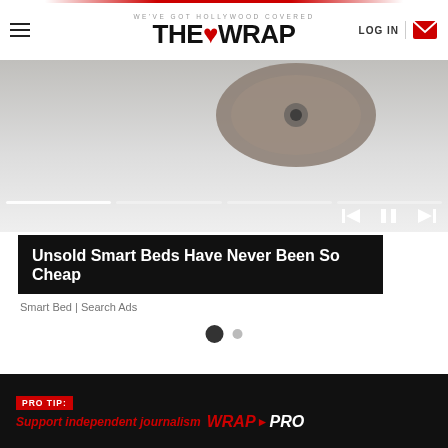WE'VE GOT HOLLYWOOD COVERED — THE WRAP — LOG IN
[Figure (screenshot): Media player area showing a product object (smart bed) with playback controls and progress bar segments at the bottom]
Unsold Smart Beds Have Never Been So Cheap
Smart Bed | Search Ads
[Figure (other): Loading indicator with two dots (one large dark, one small grey)]
PRO TIP: Support independent journalism — WRAP PRO